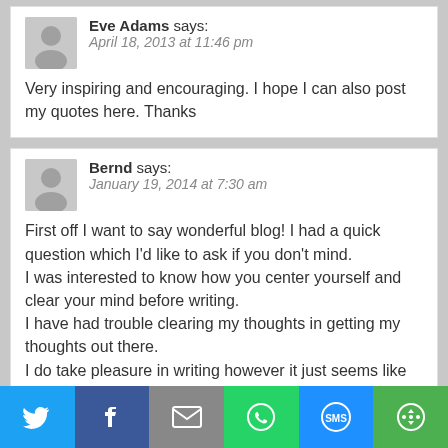Eve Adams says: April 18, 2013 at 11:46 pm
Very inspiring and encouraging. I hope I can also post my quotes here. Thanks
Bernd says: January 19, 2014 at 7:30 am
First off I want to say wonderful blog! I had a quick question which I'd like to ask if you don't mind.
I was interested to know how you center yourself and clear your mind before writing.
I have had trouble clearing my thoughts in getting my thoughts out there.
I do take pleasure in writing however it just seems like the first 10 to
15 minutes are usually lost simply just trying to figure
[Figure (infographic): Social share bar with Twitter, Facebook, Email, WhatsApp, SMS, and More buttons]